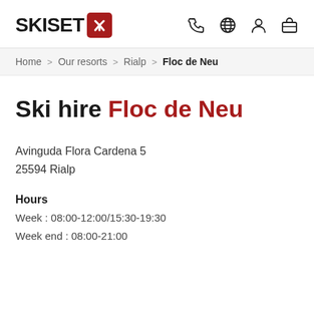SKISET [logo] [phone icon] [globe icon] [user icon] [bag icon]
Home > Our resorts > Rialp > Floc de Neu
Ski hire Floc de Neu
Avinguda Flora Cardena 5
25594 Rialp
Hours
Week : 08:00-12:00/15:30-19:30
Week end : 08:00-21:00